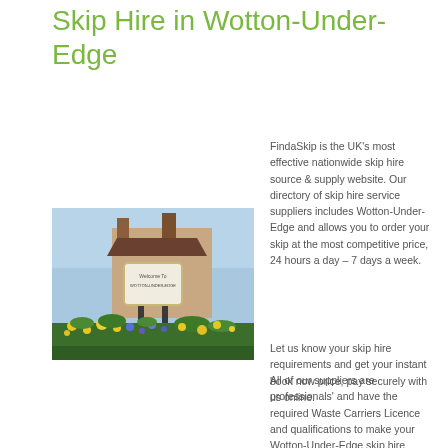Skip Hire in Wotton-Under-Edge
[Figure (photo): Welcome sign for Wotton-Under-Edge town, with brick buildings and flowers in foreground]
FindaSkip is the UK’s most effective nationwide skip hire source & supply website. Our directory of skip hire service suppliers includes Wotton-Under-Edge and allows you to order your skip at the most competitive price, 24 hours a day – 7 days a week.
Let us know your skip hire requirements and get your instant book now price, pay securely with us online.
All of our suppliers are professionals’ and have the required Waste Carriers Licence and qualifications to make your Wotton-Under-Edge skip hire